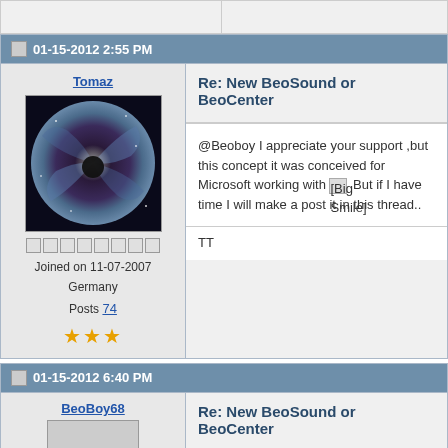01-15-2012 2:55 PM
Re: New BeoSound or BeoCenter
[Figure (photo): Galaxy/space avatar image with spiral galaxy and dark center]
Tomaz
Joined on 11-07-2007
Germany
Posts 74
@Beoboy I appreciate your support ,but this concept it was conceived for Microsoft working with [Big Smile icon] But if I have time I will make a post it in this thread..
TT
01-15-2012 6:40 PM
Re: New BeoSound or BeoCenter
BeoBoy68